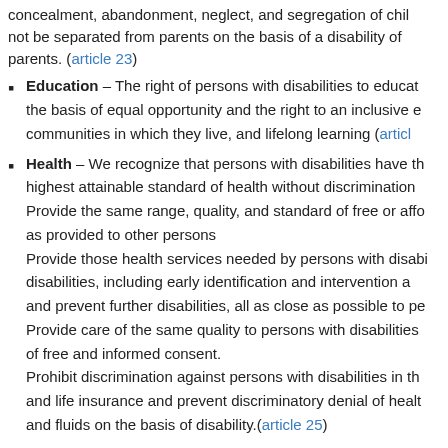concealment, abandonment, neglect, and segregation of children. Children shall not be separated from parents on the basis of a disability of children or parents. (article 23)
Education – The right of persons with disabilities to education on the basis of equal opportunity and the right to an inclusive education in the communities in which they live, and lifelong learning (article...
Health – We recognize that persons with disabilities have the right to the highest attainable standard of health without discrimination. Provide the same range, quality, and standard of free or affordable health care as provided to other persons. Provide those health services needed by persons with disabilities specifically because of their disabilities, including early identification and intervention as appropriate, and to minimize and prevent further disabilities, all as close as possible to person's own communities. Provide care of the same quality to persons with disabilities as to others, on the basis of free and informed consent. Prohibit discrimination against persons with disabilities in the provision of health and life insurance and prevent discriminatory denial of health care or health services and fluids on the basis of disability.(article 25)
Habilitation and rehabilitation – The right to attain and maintain...